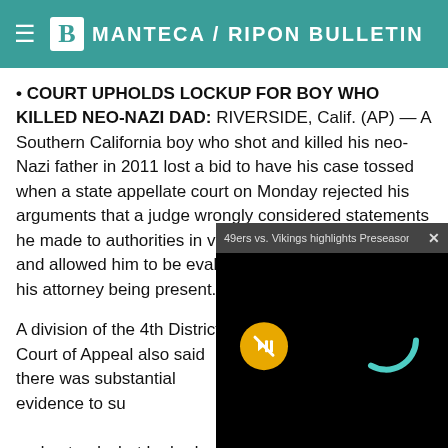Manteca / Ripon Bulletin
• COURT UPHOLDS LOCKUP FOR BOY WHO KILLED NEO-NAZI DAD: RIVERSIDE, Calif. (AP) — A Southern California boy who shot and killed his neo-Nazi father in 2011 lost a bid to have his case tossed when a state appellate court on Monday rejected his arguments that a judge wrongly considered statements he made to authorities in violation of his Miranda rights and allowed him to be evaluated by a doctor without his attorney being present.
A division of the 4th District Court of Appeal also said there was substantial evidence to support the finding that the boy understood what he had done and that the judge properly considered all of the relevant factors before choosing juvenile lockup as opposed to a less restrictive treatment center.
Authorities say the boy sh
[Figure (screenshot): Video overlay popup showing '49ers vs. Vikings highlights Preseason ...' with a mute button and loading spinner on black background]